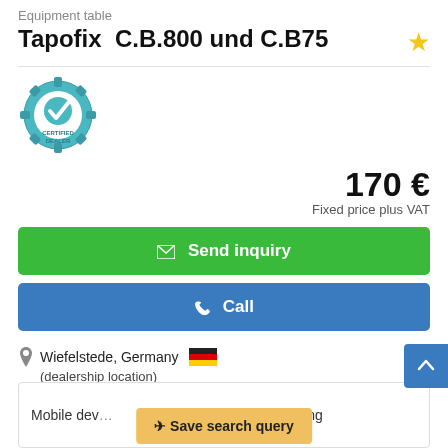Equipment table
Tapofix  C.B.800 und C.B75
[Figure (logo): Certified Dealer badge - circular teal gear badge with checkmark and text CERTIFIED DEALER]
170 €
Fixed price plus VAT
✉ Send inquiry
📞 Call
Wiefelstede, Germany 🇩🇪
(dealership location)
6378 km
used
Mobile dev...papering
✈ Save search query